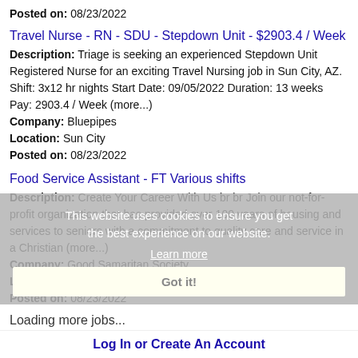Location: Sun City West
Posted on: 08/23/2022
Travel Nurse - RN - SDU - Stepdown Unit - $2903.4 / Week
Description: Triage is seeking an experienced Stepdown Unit Registered Nurse for an exciting Travel Nursing job in Sun City, AZ. Shift: 3x12 hr nights Start Date: 09/05/2022 Duration: 13 weeks Pay: 2903.4 / Week (more...)
Company: Bluepipes
Location: Sun City
Posted on: 08/23/2022
Food Service Assistant - FT Various shifts
Description: Create Your Career With Us br br Join our not-for-profit organization that has provided over 100 years of housing and services to seniors with a commitment to quality care and service in a Christian (more...)
Company: Good Samaritan Society
Location: Prescott Valley
Posted on: 08/23/2022
Loading more jobs...
This website uses cookies to ensure you get the best experience on our website.
Learn more
Got it!
Log In or Create An Account